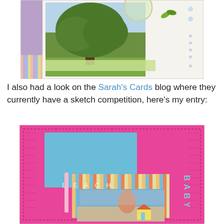[Figure (photo): Scrapbook page featuring a large tree photo with decorative paper strips, circles, and embellishments in green, purple, and striped patterns.]
I also had a look on the Sarah's Cards blog where they currently have a sketch competition, here's my entry:
[Figure (photo): Scrapbook layout with bright pink background, blue cardstock, striped paper, photo of a child at the beach, and the word 'BEACH' with 'BABY' lettering on the right side, plus a beach hut embellishment.]